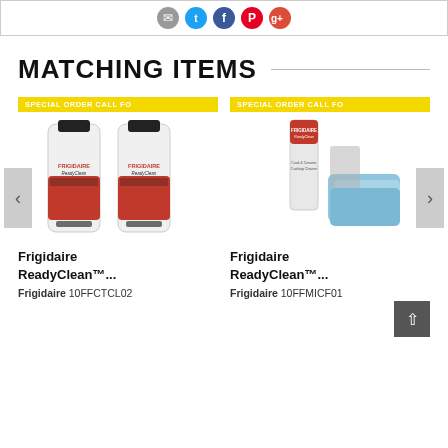[Figure (other): Social sharing icons: email, Twitter, Facebook, Pinterest, Google+]
MATCHING ITEMS
[Figure (photo): Two bottles of Frigidaire ReadyClean cooktop cleaner with SPECIAL ORDER CALL FO banner]
Frigidaire ReadyClean™...
Frigidaire 10FFCTCL02
[Figure (photo): Frigidaire ReadyClean microfiber cloths with SPECIAL ORDER CALL FO banner]
Frigidaire ReadyClean™...
Frigidaire 10FFMICF01